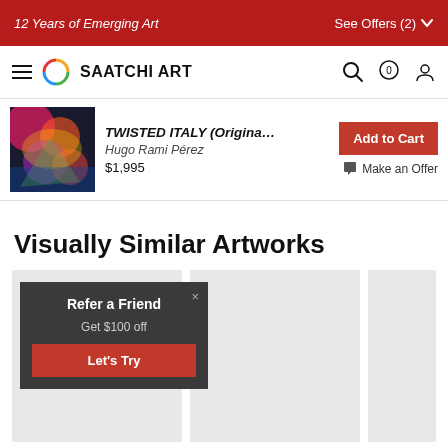12 Years of Emerging Art | See Offers (2)
[Figure (logo): Saatchi Art logo with navigation icons]
[Figure (photo): Thumbnail of artwork TWISTED ITALY]
TWISTED ITALY (Origina…
Hugo Rami Pérez
$1,995
Add to Cart
Make an Offer
Visually Similar Artworks
[Figure (screenshot): Refer a Friend popup overlay on gallery card: Get $100 off — Let's Try button]
[Figure (photo): Empty grey gallery card placeholder 2]
[Figure (photo): Empty grey gallery card placeholder 3]